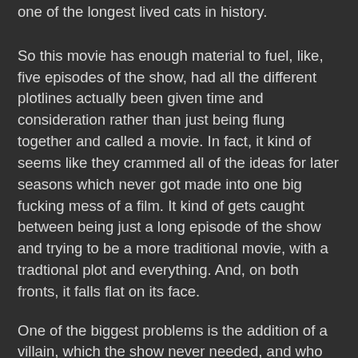one of the longest lived cats in history.
So this movie has enough material to fuel, like, five episodes of the show, had all the different plotlines actually been given time and consideration rather than just being flung together and called a movie. In fact, it kind of seems like they crammed all of the ideas for later seasons which never got made into one big fucking mess of a film. It kind of gets caught between being just a long episode of the show and trying to be a more traditional movie, with a tradtional plot and everything. And, on both fronts, it falls flat on its face.
One of the biggest problems is the addition of a villain, which the show never needed, and who sort of gets lost in the jumble of other plot elements so that there really isn't enough time to explain his motives at all, short of saying, well he's just a dick. The best part of the movie is the reapers trying to figure out some way of killing him, but even that wasn't explored enough to reach it's full comic potential.
And even worse, there just wasn't the same (I hate to use this word but) chemistry between the actors. They didn't look like they were having fun anymore. And that was a big